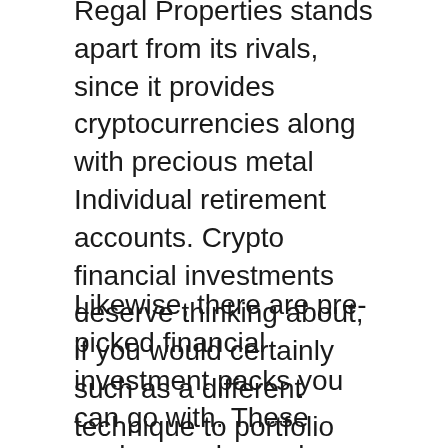Regal Properties stands apart from its rivals, since it provides cryptocurrencies along with precious metal Individual retirement accounts. Crypto financial investments deserve thinking about, if you would certainly such as a different technique to portfolio diversification. These investments give you another method to secure your wealth. Regal Assets enables you to buy cryptos like Ethereum, Bitcoin, Stellar, Litecoin, Tezos, XRP and Zcash.
Likewise, there are pre-picked financial investment packs you can go with. These packs supply an also easier approach to begin investing, specifically for newbie financiers that don't recognize which items to purchase. All packs have hand picked